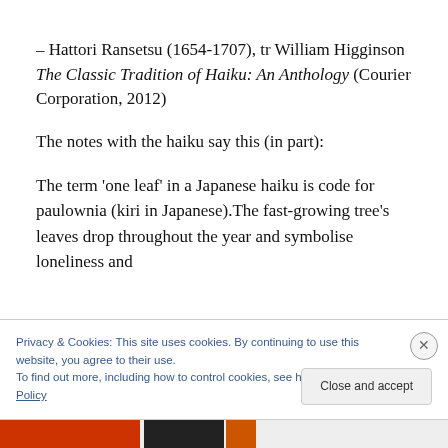– Hattori Ransetsu (1654-1707), tr William Higginson The Classic Tradition of Haiku: An Anthology (Courier Corporation, 2012)
The notes with the haiku say this (in part):
The term 'one leaf' in a Japanese haiku is code for paulownia (kiri in Japanese).The fast-growing tree's leaves drop throughout the year and symbolise loneliness and
Privacy & Cookies: This site uses cookies. By continuing to use this website, you agree to their use.
To find out more, including how to control cookies, see here: Cookie Policy